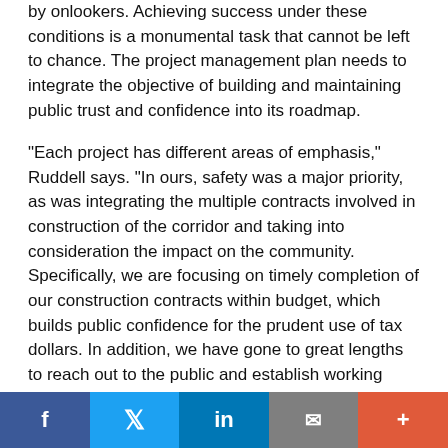by onlookers. Achieving success under these conditions is a monumental task that cannot be left to chance. The project management plan needs to integrate the objective of building and maintaining public trust and confidence into its roadmap.
"Each project has different areas of emphasis," Ruddell says. "In ours, safety was a major priority, as was integrating the multiple contracts involved in construction of the corridor and taking into consideration the impact on the community. Specifically, we are focusing on timely completion of our construction contracts within budget, which builds public confidence for the prudent use of tax dollars. In addition, we have gone to great lengths to reach out to the public and establish working relationships with stakeholders. Through these relationships, we gather input for construction operations that consider community concerns. During construction, we engage our stakeholders to provide feedback and make adjustments to the extent
f  [Twitter bird]  in  [envelope]  +